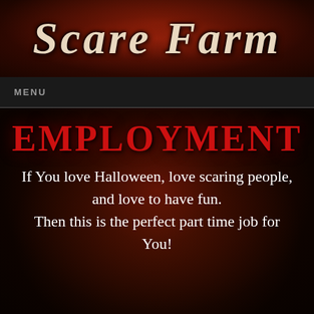[Figure (logo): Scare Farm logo text in aged/distressed serif font on dark red atmospheric background]
MENU
EMPLOYMENT
If You love Halloween, love scaring people, and love to have fun. Then this is the perfect part time job for You!
Scare Farm, one of New Jersey's most terrifying